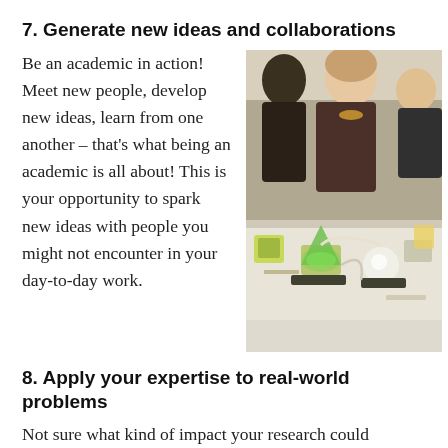7. Generate new ideas and collaborations
Be an academic in action! Meet new people, develop new ideas, learn from one another – that's what being an academic is all about! This is your opportunity to spark new ideas with people you might not encounter in your day-to-day work.
[Figure (photo): Group of people around a table with illuminated electronic/scientific devices and green glowing gadgets at an event or workshop.]
8. Apply your expertise to real-world problems
Not sure what kind of impact your research could